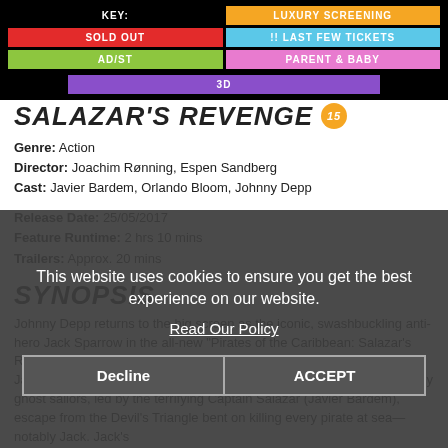[Figure (infographic): Cinema screening key legend: Luxury Screening (orange), Sold Out (red), Last Few Tickets (light blue), AD/ST (green), Parent & Baby (pink), 3D (purple)]
SALAZAR'S REVENGE
Genre: Action
Director: Joachim Rønning, Espen Sandberg
Cast: Javier Bardem, Orlando Bloom, Johnny Depp
Release Date: 25/05/2017
Feature Runtime: 2 hrs 10 mins
Trailers: Approx. 20 mins
SYNOPSIS
Johnny Depp returns to the big screen as the iconic, swashbuckling anti-hero Jack Sparrow in the all-new "Pirates of the Caribbean: Salazar's Revenge." The rip-roaring adventure finds down-on-his-luck Captain Jack feeling the winds of ill-fortune blowing strongly his way when deadly ghost sailors, led by the terrifying Captain Salazar (Javier Bardem), escape from the Devil's Triangle bent on killing every pirate at sea—notably Jack. Jack's
This website uses cookies to ensure you get the best experience on our website.
Read Our Policy
Decline  ACCEPT